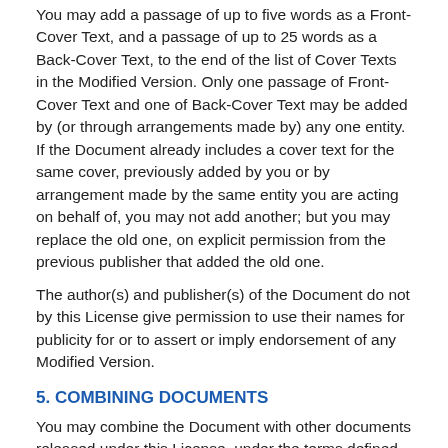You may add a passage of up to five words as a Front-Cover Text, and a passage of up to 25 words as a Back-Cover Text, to the end of the list of Cover Texts in the Modified Version. Only one passage of Front-Cover Text and one of Back-Cover Text may be added by (or through arrangements made by) any one entity. If the Document already includes a cover text for the same cover, previously added by you or by arrangement made by the same entity you are acting on behalf of, you may not add another; but you may replace the old one, on explicit permission from the previous publisher that added the old one.
The author(s) and publisher(s) of the Document do not by this License give permission to use their names for publicity for or to assert or imply endorsement of any Modified Version.
5. COMBINING DOCUMENTS
You may combine the Document with other documents released under this License, under the terms defined in section 4 above for modified versions, provided that you